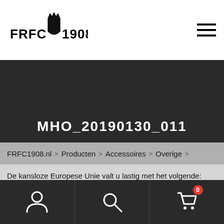FRFC 1908 — navigation header with logo and hamburger menu
MHO_20190130_011
FRFC1908.nl > Producten > Accessoires > Overige >
De kansloze Europese Unie valt u lastig met het volgende: Internet heeft cookies nodig om te werken. Deal with it. Wij gebruiken het ook, als je deze website gebruikt, krijg je dus cookies, helemaal gratis en voor niets. De cookies doen niets anders dan deze website laten functioneren op optimale manier.

Wil je geen cookies? Dan raden we je aan je computer uit het raam te pleuren, kan gewoon… in Rotterdam.
Bottom navigation bar with account, search, and cart icons